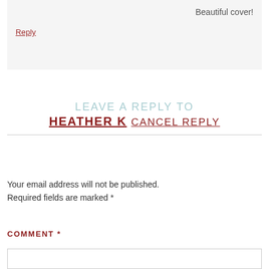Beautiful cover!
Reply
LEAVE A REPLY TO HEATHER K CANCEL REPLY
Your email address will not be published. Required fields are marked *
COMMENT *